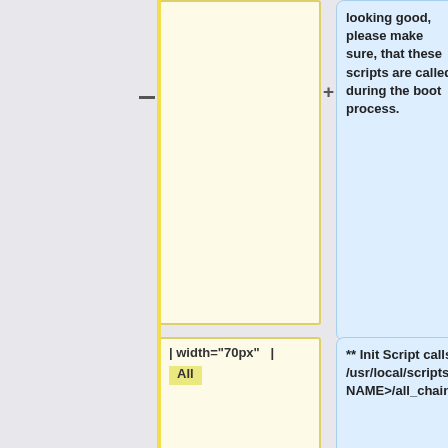looking good, please make sure, that these scripts are called during the boot process.
| width="70px" | All
** Init Script calls /usr/local/scripts/netfilter/local/chains/<NODE-NAME>/all_chains.sh.
** /etc/init.d/stoney-cloud-firewall
* Remove iptables from default runlevel <code>iptables